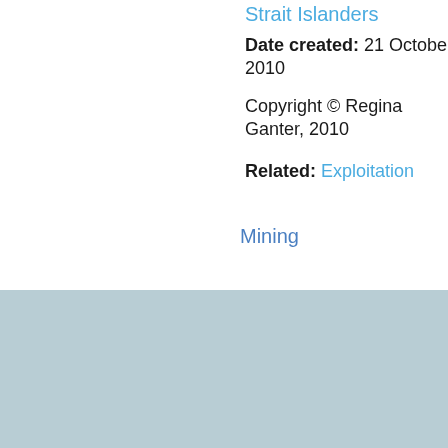Strait Islanders
Date created:  21 October 2010
Copyright © Regina Ganter, 2010
Related:  Exploitation
Mining
About the Queensland Historical Atlas  |  Authors  |  Editors  |  Feedback